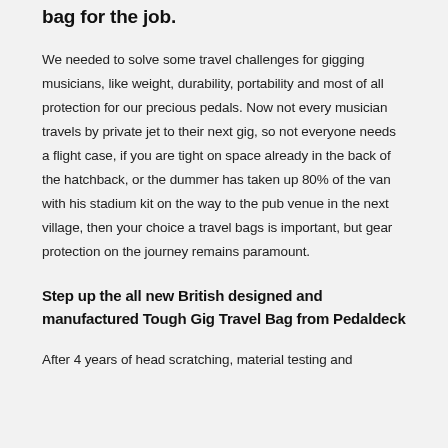bag for the job.
We needed to solve some travel challenges for gigging musicians, like weight, durability, portability and most of all protection for our precious pedals. Now not every musician travels by private jet to their next gig, so not everyone needs a flight case, if you are tight on space already in the back of the hatchback, or the dummer has taken up 80% of the van with his stadium kit on the way to the pub venue in the next village, then your choice a travel bags is important, but gear protection on the journey remains paramount.
Step up the all new British designed and manufactured Tough Gig Travel Bag from Pedaldeck
After 4 years of head scratching, material testing and